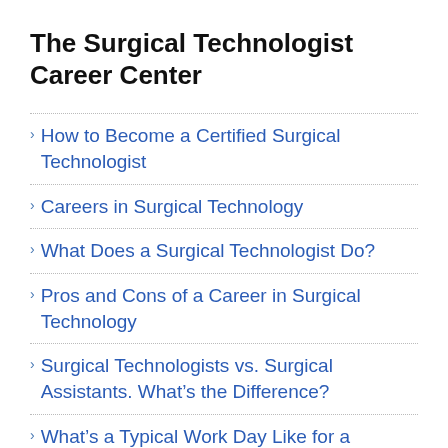The Surgical Technologist Career Center
How to Become a Certified Surgical Technologist
Careers in Surgical Technology
What Does a Surgical Technologist Do?
Pros and Cons of a Career in Surgical Technology
Surgical Technologists vs. Surgical Assistants. What's the Difference?
What's a Typical Work Day Like for a Surgical Technologist?
Working as a Traveling Surgical Tech